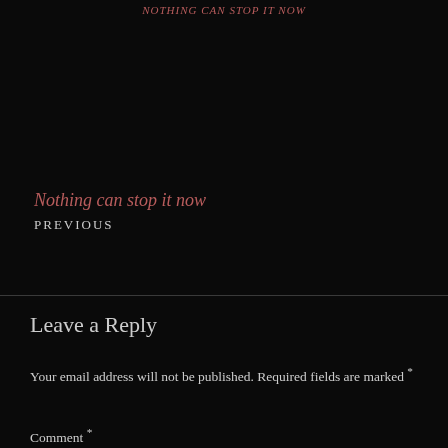NOTHING CAN STOP IT NOW
Nothing can stop it now
PREVIOUS
Shadow & Shame
NEXT
Leave a Reply
Your email address will not be published. Required fields are marked *
Comment *